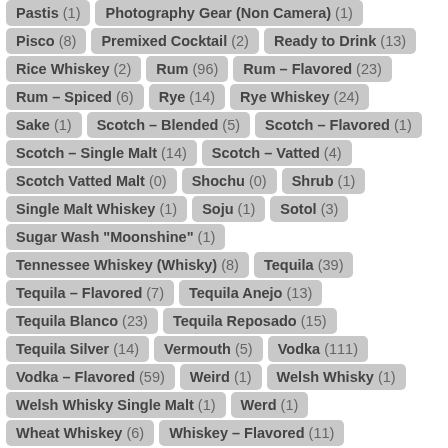Pastis (1)
Photography Gear (Non Camera) (1)
Pisco (8)
Premixed Cocktail (2)
Ready to Drink (13)
Rice Whiskey (2)
Rum (96)
Rum – Flavored (23)
Rum – Spiced (6)
Rye (14)
Rye Whiskey (24)
Sake (1)
Scotch – Blended (5)
Scotch – Flavored (1)
Scotch – Single Malt (14)
Scotch – Vatted (4)
Scotch Vatted Malt (0)
Shochu (0)
Shrub (1)
Single Malt Whiskey (1)
Soju (1)
Sotol (3)
Sugar Wash "Moonshine" (1)
Tennessee Whiskey (Whisky) (8)
Tequila (39)
Tequila – Flavored (7)
Tequila Anejo (13)
Tequila Blanco (23)
Tequila Reposado (15)
Tequila Silver (14)
Vermouth (5)
Vodka (111)
Vodka – Flavored (59)
Weird (1)
Welsh Whisky (1)
Welsh Whisky Single Malt (1)
Werd (1)
Wheat Whiskey (6)
Whiskey – Flavored (11)
White Whiskey a.k.a. White Dog (12)
Wine (2)